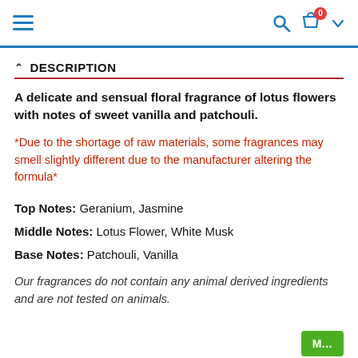Navigation bar with hamburger menu, search icon, cart (0), and chevron
DESCRIPTION
A delicate and sensual floral fragrance of lotus flowers with notes of sweet vanilla and patchouli.
*Due to the shortage of raw materials, some fragrances may smell slightly different due to the manufacturer altering the formula*
Top Notes: Geranium, Jasmine
Middle Notes: Lotus Flower, White Musk
Base Notes: Patchouli, Vanilla
Our fragrances do not contain any animal derived ingredients and are not tested on animals.